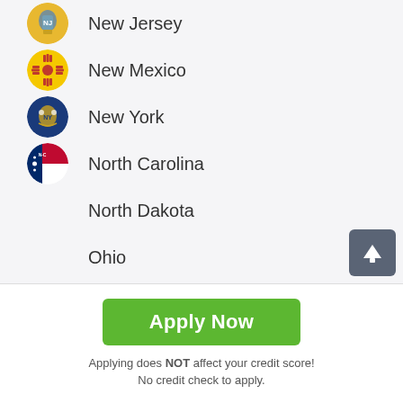New Jersey
New Mexico
New York
North Carolina
North Dakota
Ohio
Apply Now
Applying does NOT affect your credit score! No credit check to apply.